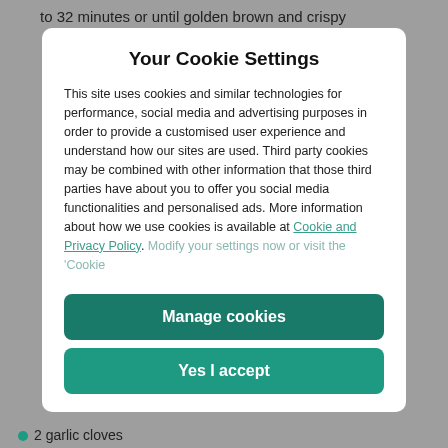to 32 minutes or until golden brown and crispy
Your Cookie Settings
This site uses cookies and similar technologies for performance, social media and advertising purposes in order to provide a customised user experience and understand how our sites are used. Third party cookies may be combined with other information that those third parties have about you to offer you social media functionalities and personalised ads. More information about how we use cookies is available at Cookie and Privacy Policy. Modify your settings now or visit the ‘Cookie
Manage cookies
Yes I accept
2 garlic cloves